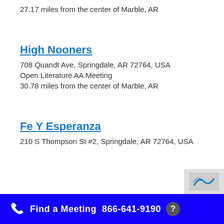27.17 miles from the center of Marble, AR
High Nooners
708 Quandt Ave, Springdale, AR 72764, USA
Open Literature AA Meeting
30.78 miles from the center of Marble, AR
Fe Y Esperanza
210 S Thompson St #2, Springdale, AR 72764, USA
Find a Meeting  866-641-9190